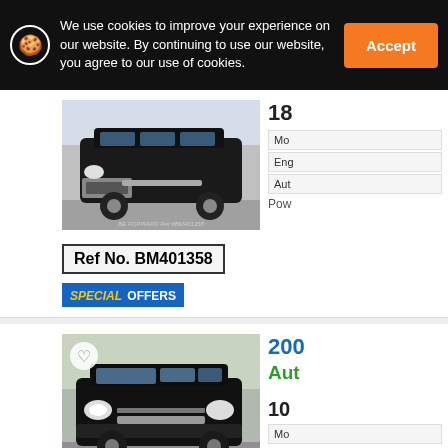We use cookies to improve your experience on our website. By continuing to use our website, you agree to our use of cookies.
Accept
[Figure (photo): Black Toyota Noah/Voxy minivan, front 3/4 view, parked on tarmac. Watermark: BE FORWARD Ref #BM401358]
Ref No. BM401358
SPECIAL OFFERS
18
Mo
Eng
Aut
Pow
[Figure (photo): Black Toyota Noah/Voxy minivan, front 3/4 view, parked in lot. Watermark: BE FORWARD Ref #BM405432]
200
Aut
10
Mo